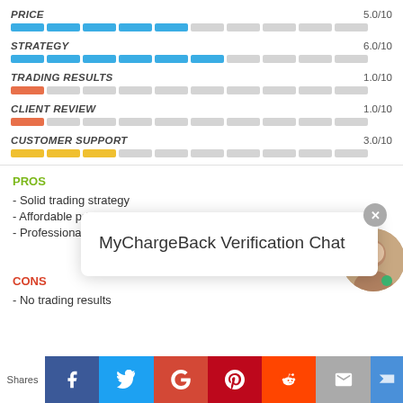[Figure (bar-chart): PRICE]
[Figure (bar-chart): STRATEGY]
[Figure (bar-chart): TRADING RESULTS]
[Figure (bar-chart): CLIENT REVIEW]
[Figure (bar-chart): CUSTOMER SUPPORT]
PROS
- Solid trading strategy
- Affordable pricing
- Professional website
MyChargeBack Verification Chat
CONS
- No trading results
Shares | Facebook | Twitter | Google+ | Pinterest | Reddit | Email